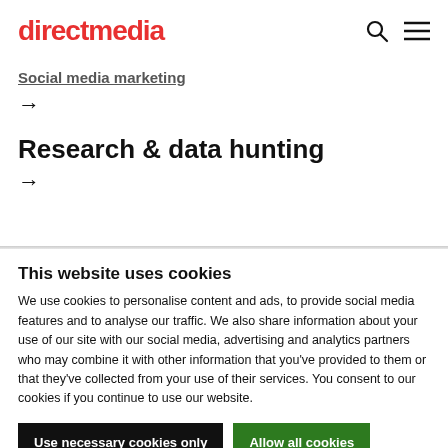directmedia
Social media marketing
→
Research & data hunting
→
This website uses cookies
We use cookies to personalise content and ads, to provide social media features and to analyse our traffic. We also share information about your use of our site with our social media, advertising and analytics partners who may combine it with other information that you've provided to them or that they've collected from your use of their services. You consent to our cookies if you continue to use our website.
Use necessary cookies only
Allow all cookies
Show details